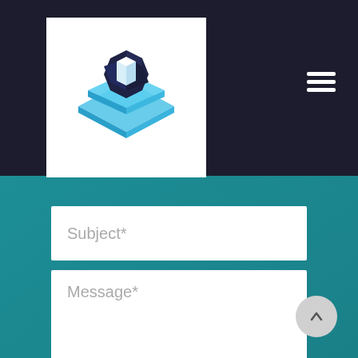[Figure (logo): Blockchain/tech company logo with dark hexagonal shape and blue isometric blocks on white background]
[Figure (other): Hamburger menu icon (three horizontal white lines) in top right corner on dark background]
Subject*
Message*
Submit Now